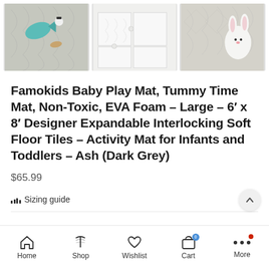[Figure (photo): Three product photos side by side: left shows a patterned grey play mat with a teal stuffed fish toy and other toys; center shows white interlocking foam tiles slightly separated; right shows grey patterned mat with a white plush bunny toy.]
Famokids Baby Play Mat, Tummy Time Mat, Non-Toxic, EVA Foam – Large – 6′ x 8′ Designer Expandable Interlocking Soft Floor Tiles – Activity Mat for Infants and Toddlers – Ash (Dark Grey)
$65.99
Sizing guide
Size
Home  Shop  Wishlist  Cart  More